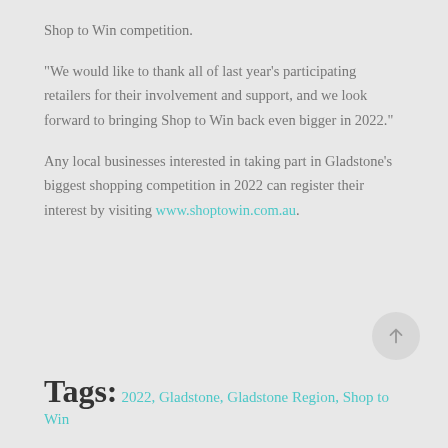Shop to Win competition.
“We would like to thank all of last year’s participating retailers for their involvement and support, and we look forward to bringing Shop to Win back even bigger in 2022.”
Any local businesses interested in taking part in Gladstone’s biggest shopping competition in 2022 can register their interest by visiting www.shoptowin.com.au.
Tags: 2022, Gladstone, Gladstone Region, Shop to Win